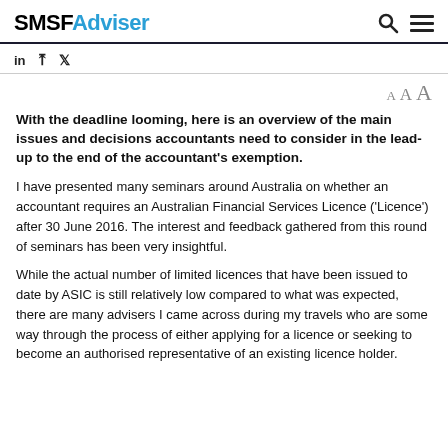SMSFAdviser
With the deadline looming, here is an overview of the main issues and decisions accountants need to consider in the lead-up to the end of the accountant's exemption.
I have presented many seminars around Australia on whether an accountant requires an Australian Financial Services Licence ('Licence') after 30 June 2016. The interest and feedback gathered from this round of seminars has been very insightful.
While the actual number of limited licences that have been issued to date by ASIC is still relatively low compared to what was expected, there are many advisers I came across during my travels who are some way through the process of either applying for a licence or seeking to become an authorised representative of an existing licence holder.